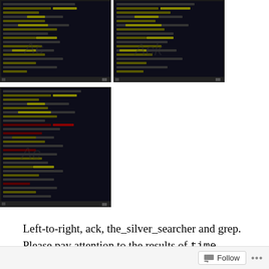[Figure (screenshot): Two side-by-side terminal/command-line screenshots showing colored text output (yellow highlighted text) on dark background]
[Figure (screenshot): Single terminal/command-line screenshot showing colored text output (yellow and red highlighted text) on dark background]
Left-to-right, ack, the_silver_searcher and grep. Please pay attention to the results of time.
Because it seems to me that both the_silver_searcher (which I will henceforth abbreviate by its executable ag, because that name is a little cumbersome to type) and ack pound their chests on their home pages, and suggest they are faster than grep. And ag definitely holds itself out as
Follow